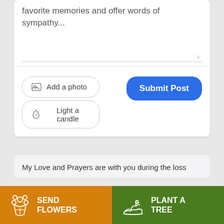favorite memories and offer words of sympathy...
[Figure (screenshot): Text input area with placeholder text, resize handle at bottom right]
[Figure (screenshot): Add a photo button with image icon (outline rounded rectangle)]
[Figure (screenshot): Light a candle button with flame icon (outline rounded rectangle)]
[Figure (screenshot): Submit Post button in blue (rounded rectangle)]
My Love and Prayers are with you during the loss
[Figure (screenshot): Send Flowers button in orange with flower bouquet icon]
[Figure (screenshot): Plant a Tree button in green with plant/hand icon]